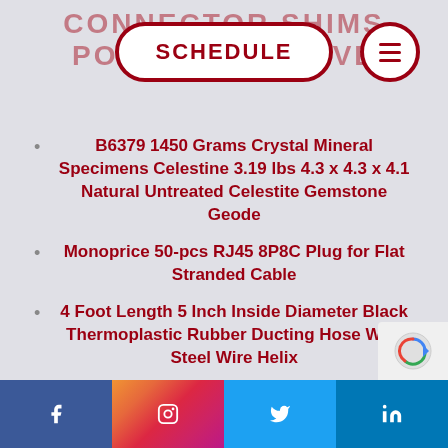CONNECTOR SHIMS POSITIVE NEGATIVE
[Figure (other): SCHEDULE button with dark red rounded rectangle border on white background, and a circular menu icon button to the right]
B6379 1450 Grams Crystal Mineral Specimens Celestine 3.19 lbs 4.3 x 4.3 x 4.1 Natural Untreated Celestite Gemstone Geode
Monoprice 50-pcs RJ45 8P8C Plug for Flat Stranded Cable
4 Foot Length 5 Inch Inside Diameter Black Thermoplastic Rubber Ducting Hose With Steel Wire Helix
Facebook | Instagram | Twitter | LinkedIn